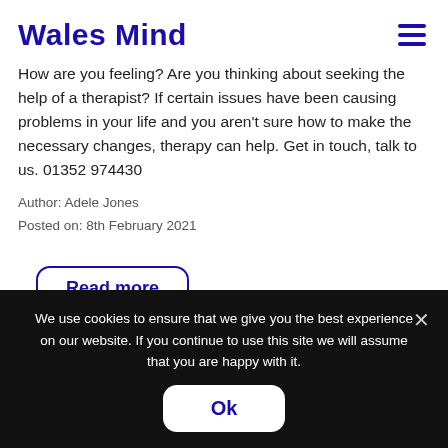Wales Mind
How are you feeling? Are you thinking about seeking the help of a therapist? If certain issues have been causing problems in your life and you aren't sure how to make the necessary changes, therapy can help. Get in touch, talk to us. 01352 974430
Author: Adele Jones
Posted on: 8th February 2021
Read more
We use cookies to ensure that we give you the best experience on our website. If you continue to use this site we will assume that you are happy with it.
Ok